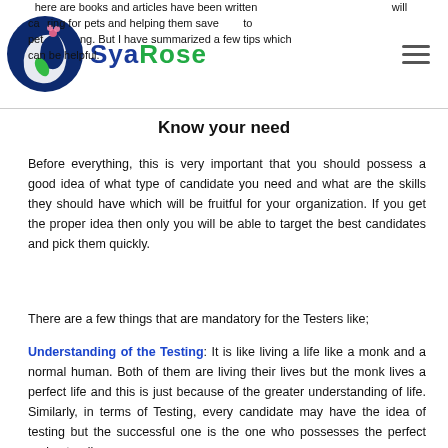SyaRose
There are books and articles have been written about caring for pets and helping them save money to pet proofing. But I have summarized a few tips which can be helpful.
Know your need
Before everything, this is very important that you should possess a good idea of what type of candidate you need and what are the skills they should have which will be fruitful for your organization. If you get the proper idea then only you will be able to target the best candidates and pick them quickly.
There are a few things that are mandatory for the Testers like;
Understanding of the Testing: It is like living a life like a monk and a normal human. Both of them are living their lives but the monk lives a perfect life and this is just because of the greater understanding of life. Similarly, in terms of Testing, every candidate may have the idea of testing but the successful one is the one who possesses the perfect understanding.